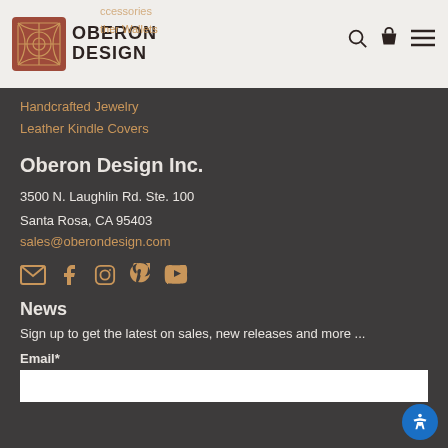Oberon Design - logo and navigation with search, cart, menu icons
Accessories
Leather Wallets
Handcrafted Jewelry
Leather Kindle Covers
Oberon Design Inc.
3500 N. Laughlin Rd. Ste. 100
Santa Rosa, CA 95403
sales@oberondesign.com
[Figure (infographic): Social media icons: email, facebook, instagram, pinterest, youtube]
News
Sign up to get the latest on sales, new releases and more ...
Email*